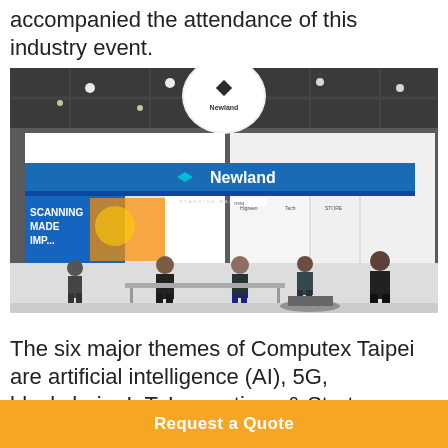accompanied the attendance of this industry event.
[Figure (photo): Photo of Newland brand exhibition booth at Computex Taipei trade show, showing the Newland logo, signage reading 'SCANNING MADE IMPOSSIBLE', attendees and booth staff milling about a busy convention hall with multiple vendor booths visible in the background.]
The six major themes of Computex Taipei are artificial intelligence (AI), 5G, blockchain, IoT, Innovations & Startups,
Request a Quote